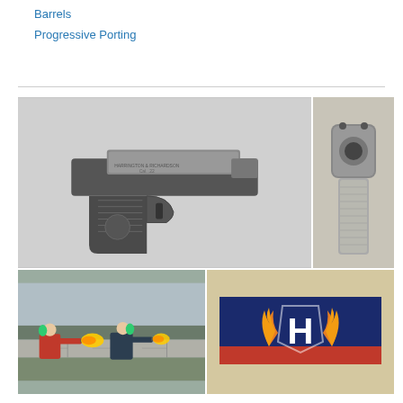Barrels
Progressive Porting
[Figure (photo): Close-up photo of a compact semi-automatic pistol with black textured grip and silver slide, displayed on a light gray background. Text markings visible on the slide.]
[Figure (photo): Close-up photo showing the muzzle end of a firearm barrel or suppressor, viewed from the front, with two small sights visible on top. Metallic silver/steel finish.]
[Figure (photo): Outdoor action photo of two people shooting pistols at a shooting range, with visible muzzle flash. One person wears a red jacket, the other dark clothing. Concrete block wall and trees in background.]
[Figure (photo): Close-up photo of a logo/emblem showing a stylized letter H with orange flames on a navy blue and red background, on what appears to be a case or box.]